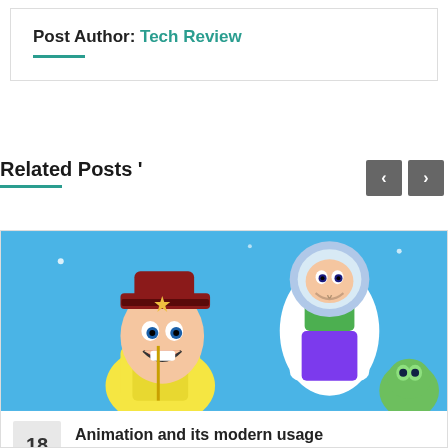Post Author: Tech Review
Related Posts '
[Figure (photo): Toy Story animated characters — Woody (cowboy) and Buzz Lightyear — against a blue sky background]
18
Animation and its modern usage